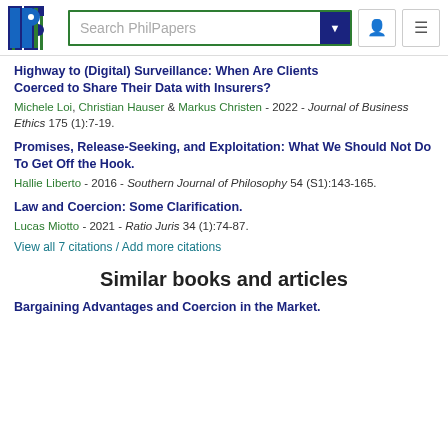Search PhilPapers
Highway to (Digital) Surveillance: When Are Clients Coerced to Share Their Data with Insurers?
Michele Loi, Christian Hauser & Markus Christen - 2022 - Journal of Business Ethics 175 (1):7-19.
Promises, Release-Seeking, and Exploitation: What We Should Not Do To Get Off the Hook.
Hallie Liberto - 2016 - Southern Journal of Philosophy 54 (S1):143-165.
Law and Coercion: Some Clarification.
Lucas Miotto - 2021 - Ratio Juris 34 (1):74-87.
View all 7 citations / Add more citations
Similar books and articles
Bargaining Advantages and Coercion in the Market.